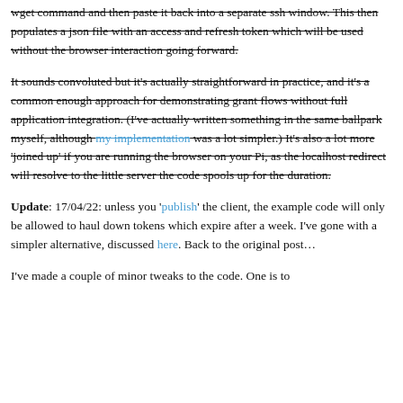wget command and then paste it back into a separate ssh window. This then populates a json file with an access and refresh token which will be used without the browser interaction going forward.
It sounds convoluted but it's actually straightforward in practice, and it's a common enough approach for demonstrating grant flows without full application integration. (I've actually written something in the same ballpark myself, although my implementation was a lot simpler.) It's also a lot more 'joined up' if you are running the browser on your Pi, as the localhost redirect will resolve to the little server the code spools up for the duration.
Update: 17/04/22: unless you 'publish' the client, the example code will only be allowed to haul down tokens which expire after a week. I've gone with a simpler alternative, discussed here. Back to the original post…
I've made a couple of minor tweaks to the code. One is to